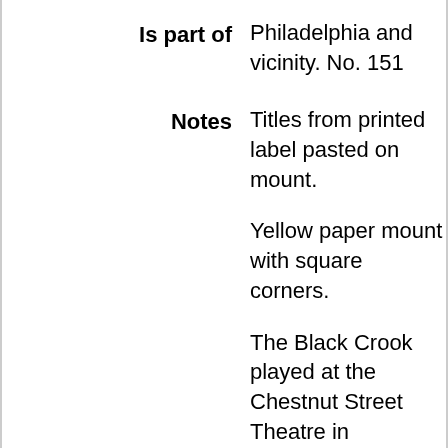Is part of: Philadelphia and vicinity. No. 151
Notes: Titles from printed label pasted on mount.

Yellow paper mount with square corners.

The Black Crook played at the Chestnut Street Theatre in Philadelphia in 1868.

See duplicates: